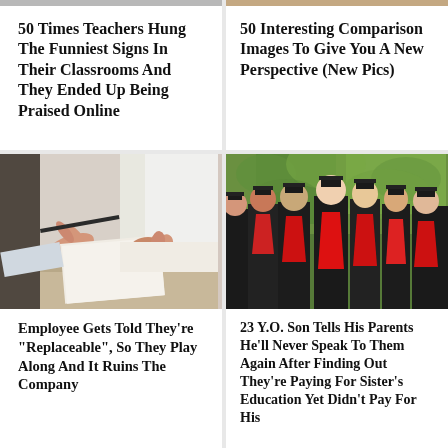50 Times Teachers Hung The Funniest Signs In Their Classrooms And They Ended Up Being Praised Online
50 Interesting Comparison Images To Give You A New Perspective (New Pics)
[Figure (photo): Close-up of hands exchanging a document across a table with a pen]
[Figure (photo): Group of university graduates in black gowns and red stoles at an outdoor ceremony]
Employee Gets Told They're "Replaceable", So They Play Along And It Ruins The Company
23 Y.O. Son Tells His Parents He'll Never Speak To Them Again After Finding Out They're Paying For Sister's Education Yet Didn't Pay For His